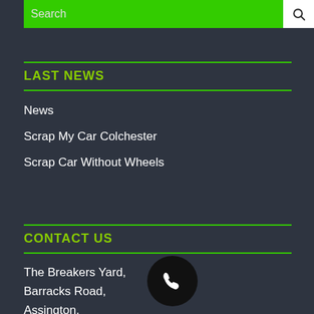[Figure (other): Search bar with green background and white search icon button]
LAST NEWS
News
Scrap My Car Colchester
Scrap Car Without Wheels
CONTACT US
The Breakers Yard,
Barracks Road,
Assington,
Sudbury,
[Figure (other): Black circular phone icon button]